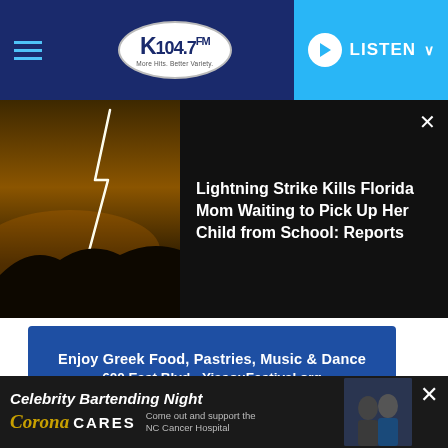K104.7 FM — LISTEN
[Figure (photo): Lightning strike over dark landscape at dusk with orange haze]
Lightning Strike Kills Florida Mom Waiting to Pick Up Her Child from School: Reports
[Figure (infographic): Advertisement banner: Enjoy Greek Food, Pastries, Music & Dance 600 East Blvd • YiasouFestival.org]
5. Twin Peaks
New Twin Peaks x Joy Division shirts available! Considering we're about half way into the new amazing season of David
[Figure (infographic): Advertisement: Celebrity Bartending Night — Corona Cares — Come out and support the NC Cancer Hospital]